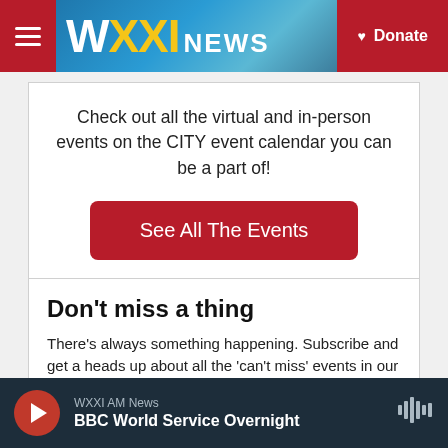WXXI NEWS | Donate
Check out all the virtual and in-person events on the CITY event calendar you can be a part of!
See All The Events
Don't miss a thing
There's always something happening. Subscribe and get a heads up about all the 'can't miss' events in our area.
Email Address *
WXXI AM News
BBC World Service Overnight